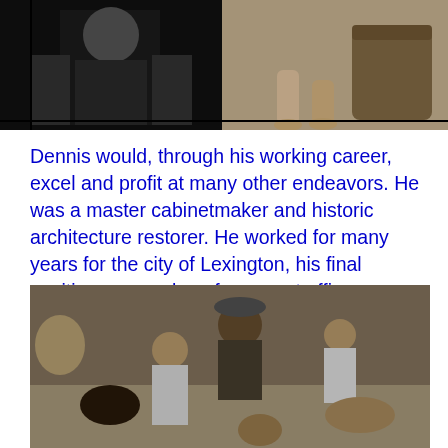[Figure (photo): Two black-and-white photographs side by side at the top of the page. Left photo shows a person in dark clothing. Right photo shows bare feet and legs of a person near a barrel or tub.]
Dennis would, through his working career, excel and profit at many other endeavors. He was a master cabinetmaker and historic architecture restorer. He worked for many years for the city of Lexington, his final position as a code enforcement officer.
[Figure (photo): A black-and-white photograph showing a man wearing a cap surrounded by children and dogs, appearing to be outdoors against a rough wall.]